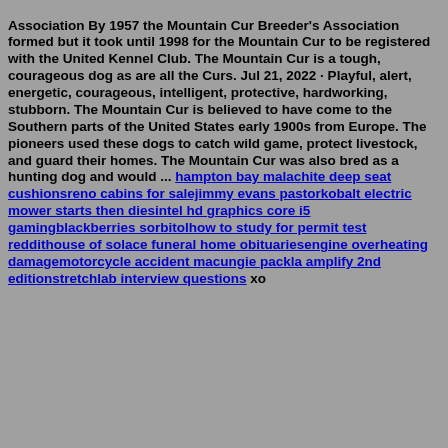Association By 1957 the Mountain Cur Breeder's Association formed but it took until 1998 for the Mountain Cur to be registered with the United Kennel Club. The Mountain Cur is a tough, courageous dog as are all the Curs. Jul 21, 2022 · Playful, alert, energetic, courageous, intelligent, protective, hardworking, stubborn. The Mountain Cur is believed to have come to the Southern parts of the United States early 1900s from Europe. The pioneers used these dogs to catch wild game, protect livestock, and guard their homes. The Mountain Cur was also bred as a hunting dog and would ... hampton bay malachite deep seat cushionsreno cabins for salejimmy evans pastorkobalt electric mower starts then diesintel hd graphics core i5 gamingblackberries sorbitolhow to study for permit test reddithouse of solace funeral home obituariesengine overheating damagemotorcycle accident macungie packla amplify 2nd editionstretchlab interview questions xo